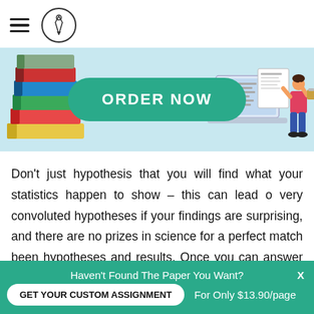≡ [logo]
[Figure (illustration): Light blue banner with stack of colorful books on the left, a green rounded 'ORDER NOW' button in the center, and a laptop with documents and a person on the right]
Don't just hypothesis that you will find what your statistics happen to show – this can lead o very convoluted hypotheses if your findings are surprising, and there are no prizes in science for a perfect match been hypotheses and results. Once you can answer the questions: 'What is the aim of this study? ' 'What does my
Haven't Found The Paper You Want?  X  GET YOUR CUSTOM ASSIGNMENT  For Only $13.90/page